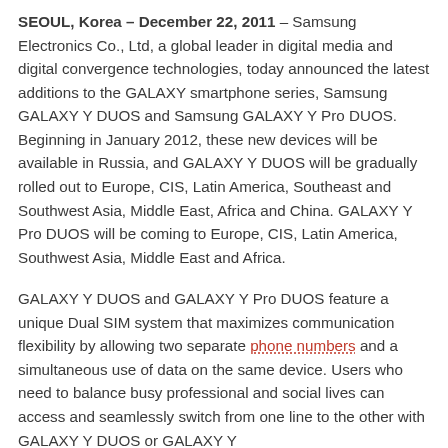SEOUL, Korea – December 22, 2011 – Samsung Electronics Co., Ltd, a global leader in digital media and digital convergence technologies, today announced the latest additions to the GALAXY smartphone series, Samsung GALAXY Y DUOS and Samsung GALAXY Y Pro DUOS. Beginning in January 2012, these new devices will be available in Russia, and GALAXY Y DUOS will be gradually rolled out to Europe, CIS, Latin America, Southeast and Southwest Asia, Middle East, Africa and China. GALAXY Y Pro DUOS will be coming to Europe, CIS, Latin America, Southwest Asia, Middle East and Africa.
GALAXY Y DUOS and GALAXY Y Pro DUOS feature a unique Dual SIM system that maximizes communication flexibility by allowing two separate phone numbers and a simultaneous use of data on the same device. Users who need to balance busy professional and social lives can access and seamlessly switch from one line to the other with GALAXY Y DUOS or GALAXY Y